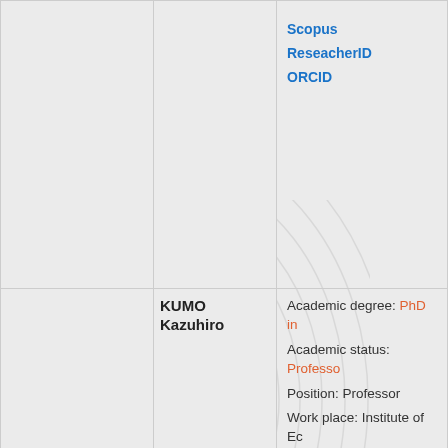Scopus
ReseacherID
ORCID
KUMO
Kazuhiro
Academic degree: PhD in
Academic status: Professor
Position: Professor
Work place: Institute of Economic Research, Hitotsubashi University (Tokyo, Japan)
E-mail: kumo@ier.hit-u.ac.
CV
Scopus
ResearcherID
ORCID